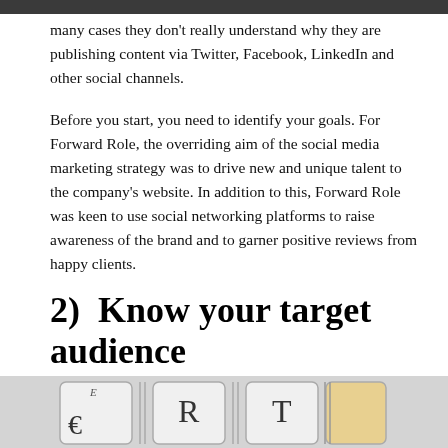many cases they don't really understand why they are publishing content via Twitter, Facebook, LinkedIn and other social channels.
Before you start, you need to identify your goals. For Forward Role, the overriding aim of the social media marketing strategy was to drive new and unique talent to the company's website. In addition to this, Forward Role was keen to use social networking platforms to raise awareness of the brand and to garner positive reviews from happy clients.
2)  Know your target audience
[Figure (photo): Close-up photograph of keyboard keys showing letters E, R, T with currency symbol on E key]